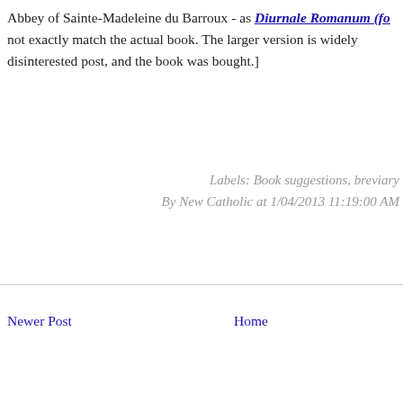Abbey of Sainte-Madeleine du Barroux - as Diurnale Romanum (fo... not exactly match the actual book. The larger version is widely disinterested post, and the book was bought.]
Labels: Book suggestions, breviary By New Catholic at 1/04/2013 11:19:00 AM
Newer Post
Home